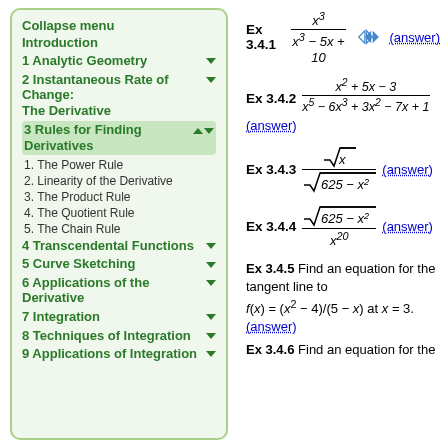Collapse menu
Introduction
1 Analytic Geometry
2 Instantaneous Rate of Change: The Derivative
3 Rules for Finding Derivatives
1. The Power Rule
2. Linearity of the Derivative
3. The Product Rule
4. The Quotient Rule
5. The Chain Rule
4 Transcendental Functions
5 Curve Sketching
6 Applications of the Derivative
7 Integration
8 Techniques of Integration
9 Applications of Integration
Ex 3.4.5 Find an equation for the tangent line to f(x) = (x^2 − 4)/(5 − x) at x = 3. (answer)
Ex 3.4.6 Find an equation for the